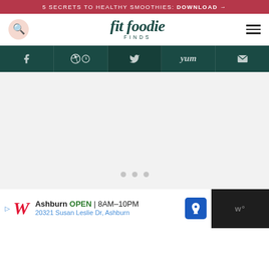5 SECRETS TO HEALTHY SMOOTHIES: DOWNLOAD →
fit foodie FINDS
[Figure (screenshot): Website navigation bar with search icon on left, Fit Foodie Finds logo in center, hamburger menu on right]
[Figure (screenshot): Social sharing bar with icons for Facebook, Pinterest, Twitter, Yummly, and Email on dark teal background]
[Figure (screenshot): Gray content placeholder area with three loading dots]
[Figure (screenshot): Walgreens advertisement banner showing Ashburn location open 8AM-10PM at 20321 Susan Leslie Dr]